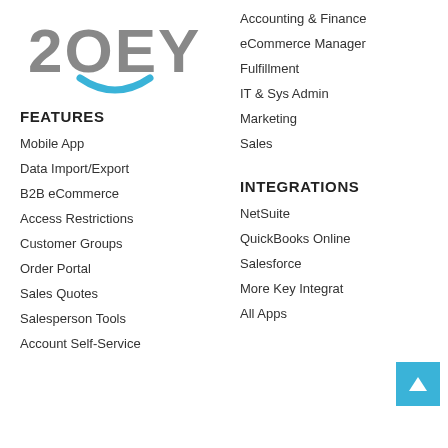[Figure (logo): Zoey logo — bold stylized '2OEY' text in gray with a teal/blue smile arc beneath]
FEATURES
Mobile App
Data Import/Export
B2B eCommerce
Access Restrictions
Customer Groups
Order Portal
Sales Quotes
Salesperson Tools
Account Self-Service
Accounting & Finance
eCommerce Manager
Fulfillment
IT & Sys Admin
Marketing
Sales
INTEGRATIONS
NetSuite
QuickBooks Online
Salesforce
More Key Integrat…
All Apps